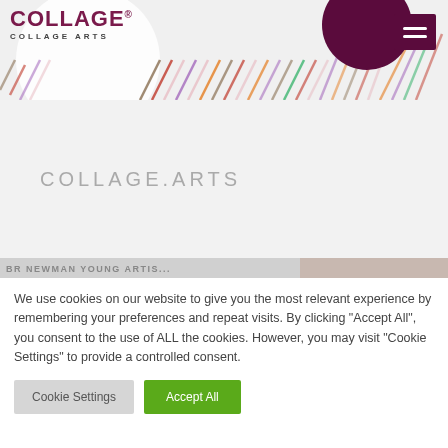[Figure (logo): Collage Arts logo with decorative diagonal colored stripes and purple circle, hamburger menu icon top right]
COLLAGE.ARTS
[Figure (screenshot): Partial website content strip showing truncated text]
We use cookies on our website to give you the most relevant experience by remembering your preferences and repeat visits. By clicking "Accept All", you consent to the use of ALL the cookies. However, you may visit "Cookie Settings" to provide a controlled consent.
Cookie Settings
Accept All